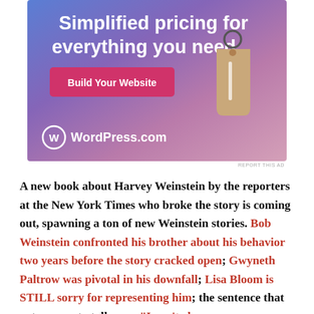[Figure (illustration): WordPress.com advertisement banner with gradient blue-purple-pink background, bold white text reading 'Simplified pricing for everything you need.', a pink 'Build Your Website' button, a tan price tag graphic, and WordPress.com logo at bottom left.]
REPORT THIS AD
A new book about Harvey Weinstein by the reporters at the New York Times who broke the story is coming out, spawning a ton of new Weinstein stories. Bob Weinstein confronted his brother about his behavior two years before the story cracked open; Gwyneth Paltrow was pivotal in his downfall; Lisa Bloom is STILL sorry for representing him; the sentence that got women to talk was: “I can’t change